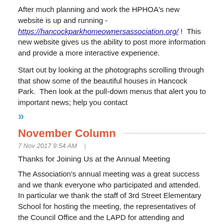After much planning and work the HPHOA's new website is up and running - https://hancockparkhomeownersassociation.org/ !  This new website gives us the ability to post more information and provide a more interactive experience.
Start out by looking at the photographs scrolling through that show some of the beautiful houses in Hancock Park.  Then look at the pull-down menus that alert you to important news; help you contact
»»
November Column
7 Nov 2017 9:54 AM   |
Thanks for Joining Us at the Annual Meeting
The Association's annual meeting was a great success and we thank everyone who participated and attended. In particular we thank the staff of 3rd Street Elementary School for hosting the meeting, the representatives of the Council Office and the LAPD for attending and answering questions. And most of all though we thank our members for attending and for continuing to work hard making Hancock Park the great place it
»»